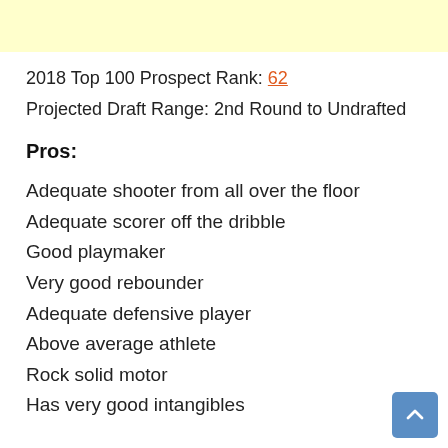2018 Top 100 Prospect Rank: 62
Projected Draft Range: 2nd Round to Undrafted
Pros:
Adequate shooter from all over the floor
Adequate scorer off the dribble
Good playmaker
Very good rebounder
Adequate defensive player
Above average athlete
Rock solid motor
Has very good intangibles